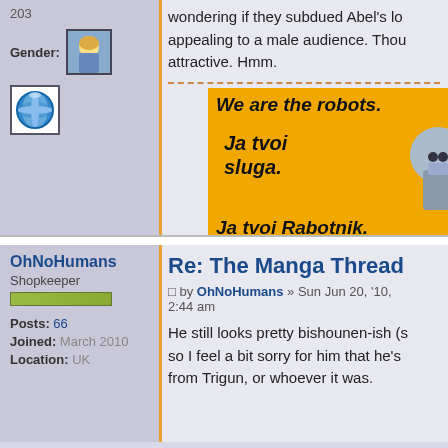203
Gender:
wondering if they subdued Abel's loo... appealing to a male audience. Thou... attractive. Hmm.
[Figure (illustration): Yellow background banner with bold italic text: 'We are the robots. Ja tvoi sluga. Ja tvoi Rabotnik.' with a robot and a red-clad figure]
OhNoHumans
Shopkeeper
Posts: 66
Joined: March 2010
Location: UK
Re: The Manga Thread
by OhNoHumans » Sun Jun 20, '10, 2:44 am
He still looks pretty bishounen-ish (s... so I feel a bit sorry for him that he's ... from Trigun, or whoever it was.